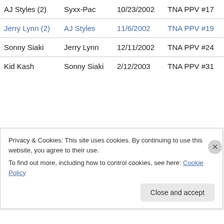| Champion | Opponent | Date | Event |
| --- | --- | --- | --- |
| AJ Styles (2) | Syxx-Pac | 10/23/2002 | TNA PPV #17 |
| Jerry Lynn (2) | AJ Styles | 11/6/2002 | TNA PPV #19 |
| Sonny Siaki | Jerry Lynn | 12/11/2002 | TNA PPV #24 |
| Kid Kash | Sonny Siaki | 2/12/2003 | TNA PPV #31 |
Privacy & Cookies: This site uses cookies. By continuing to use this website, you agree to their use. To find out more, including how to control cookies, see here: Cookie Policy
Close and accept